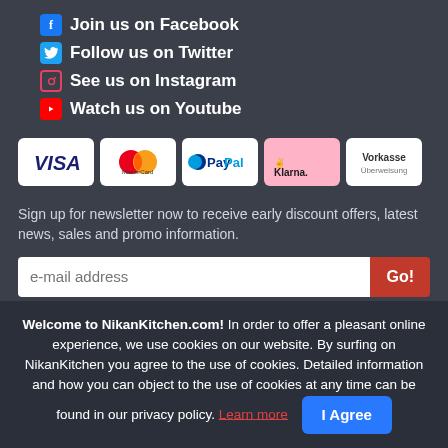Join us on Facebook
Follow us on Twitter
See us on Instagram
Watch us on Youtube
[Figure (other): Payment method logos: VISA, MasterCard, PayPal, Klarna, Vorkasse Überweisung]
Sign up for newsletter now to receive early discount offers, latest news, sales and promo information.
e-mail address
Welcome to NikanKitchen.com! In order to offer a pleasant online experience, we use cookies on our website. By surfing on NikanKitchen you agree to the use of cookies. Detailed information and how you can object to the use of cookies at any time can be found in our privacy policy. Learn more  I Agree